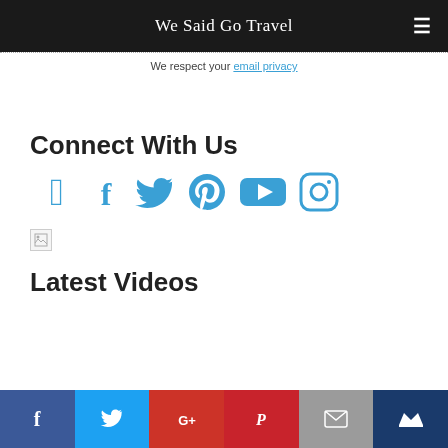We Said Go Travel
We respect your email privacy
Connect With Us
[Figure (illustration): Social media icons: Facebook, Twitter, Pinterest, YouTube, Instagram in blue]
[Figure (photo): Broken image placeholder]
Latest Videos
Share bar with Facebook, Twitter, Google+, Pinterest, Email, Bloglovin buttons